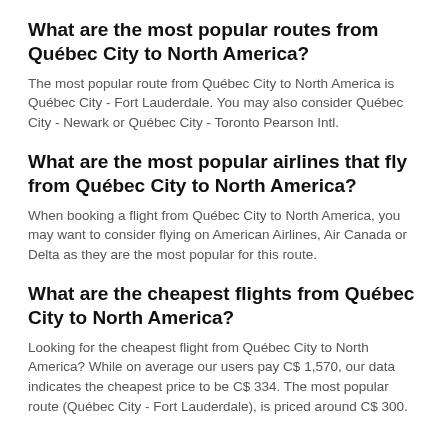What are the most popular routes from Québec City to North America?
The most popular route from Québec City to North America is Québec City - Fort Lauderdale. You may also consider Québec City - Newark or Québec City - Toronto Pearson Intl.
What are the most popular airlines that fly from Québec City to North America?
When booking a flight from Québec City to North America, you may want to consider flying on American Airlines, Air Canada or Delta as they are the most popular for this route.
What are the cheapest flights from Québec City to North America?
Looking for the cheapest flight from Québec City to North America? While on average our users pay C$ 1,570, our data indicates the cheapest price to be C$ 334. The most popular route (Québec City - Fort Lauderdale), is priced around C$ 300.